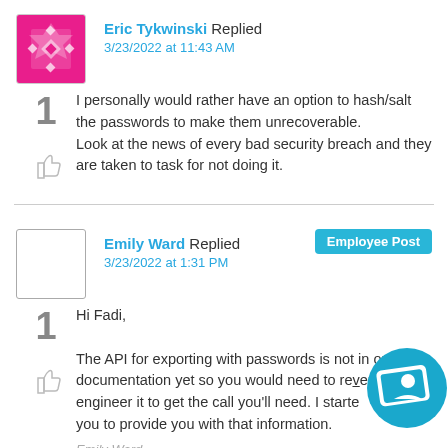Eric Tykwinski Replied
3/23/2022 at 11:43 AM
I personally would rather have an option to hash/salt the passwords to make them unrecoverable.
Look at the news of every bad security breach and they are taken to task for not doing it.
Emily Ward Replied
3/23/2022 at 1:31 PM
Employee Post
Hi Fadi,

The API for exporting with passwords is not in our documentation yet so you would need to reverse engineer it to get the call you'll need. I started with you to provide you with that information.
Emily Ward